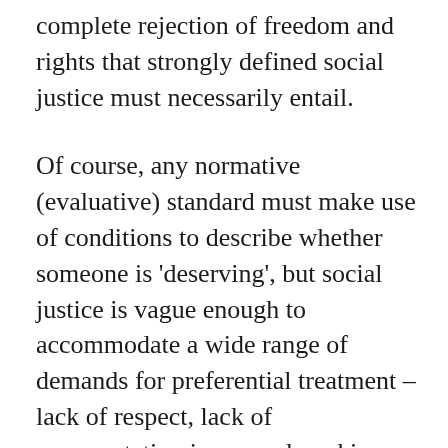complete rejection of freedom and rights that strongly defined social justice must necessarily entail.
Of course, any normative (evaluative) standard must make use of conditions to describe whether someone is 'deserving', but social justice is vague enough to accommodate a wide range of demands for preferential treatment – lack of respect, lack of representation in general, and in certain offices, unequal amounts of income, or access to resources, jobs, and social services.